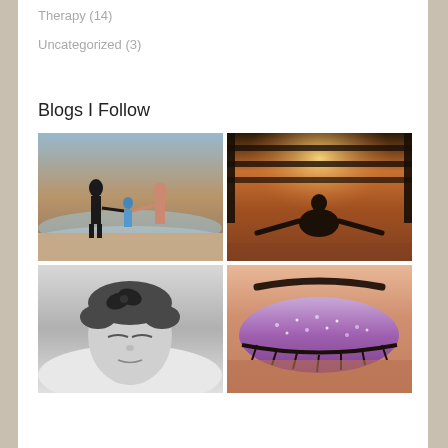Therapy (14)
Uncategorized (3)
Blogs I Follow
[Figure (photo): Family at the beach — adult and two children playing at the water's edge]
[Figure (photo): Person meditating in lotus position silhouetted against a warm sunset through wooden slats]
[Figure (photo): Black and white close-up of a young child with eyes closed, resting]
[Figure (photo): Close-up of a woman's eye with glittery purple and pink eyeshadow]